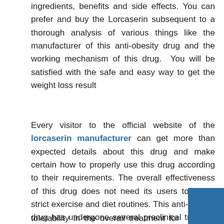ingredients, benefits and side effects. You can prefer and buy the Lorcaserin subsequent to a thorough analysis of various things like the manufacturer of this anti-obesity drug and the working mechanism of this drug. You will be satisfied with the safe and easy way to get the weight loss result
Every visitor to the official website of the lorcaserin manufacturer can get more than expected details about this drug and make certain how to properly use this drug according to their requirements. The overall effectiveness of this drug does not need its users to follow strict exercise and diet routines. This anti-obesity drug has undergone several preclinical trials as well as human studies to ensure its efficacy as well as tolerability in the overall treatment for obesity